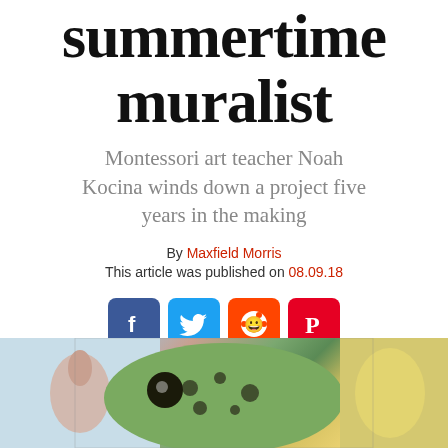summertime muralist
Montessori art teacher Noah Kocina winds down a project five years in the making
By Maxfield Morris
This article was published on 08.09.18
[Figure (infographic): Social media share icons: Facebook (blue), Twitter (light blue), Reddit (orange), Pinterest (red)]
[Figure (photo): Photo of a colorful wall mural featuring a large fish with spotted pattern in center, a bird/flamingo on the left side, and other animals on the right side]